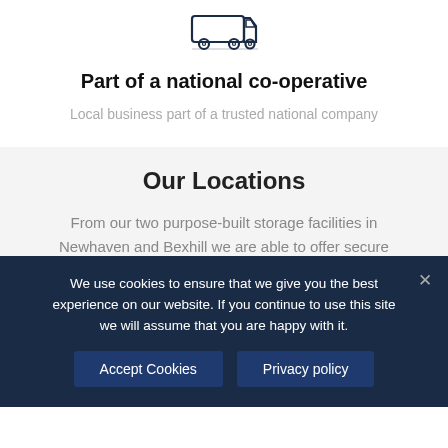[Figure (illustration): Line art icon of a van or truck with circular wheel elements, outline style in dark navy/charcoal color]
Part of a national co-operative
Local business part of a trusted national company
Our Locations
From our two purpose-built storage facilities in Newhaven and Bexhill we are able to offer secure and fast accommodation throughout f…
We use cookies to ensure that we give you the best experience on our website. If you continue to use this site we will assume that you are happy with it.
Accept Cookies
Privacy policy